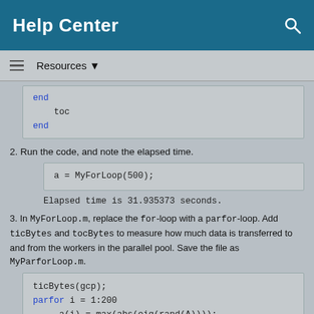Help Center
Resources ▼
end
    toc
end
2. Run the code, and note the elapsed time.
a = MyForLoop(500);
Elapsed time is 31.935373 seconds.
3. In MyForLoop.m, replace the for-loop with a parfor-loop. Add ticBytes and tocBytes to measure how much data is transferred to and from the workers in the parallel pool. Save the file as MyParforLoop.m.
ticBytes(gcp);
parfor i = 1:200
    a(i) = max(abs(eig(rand(A))));
end
tocBytes(gcp)